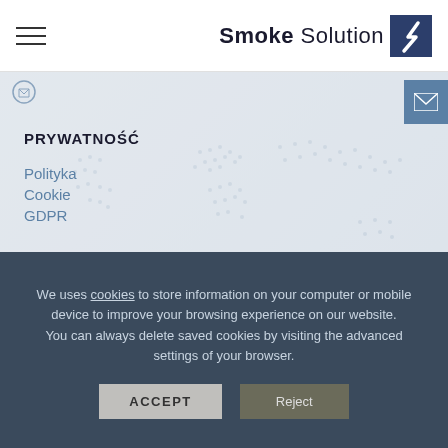Smoke Solution
PRYWATNOŚĆ
Polityka
Cookie
GDPR
We uses cookies to store information on your computer or mobile device to improve your browsing experience on our website. You can always delete saved cookies by visiting the advanced settings of your browser.
ACCEPT | Reject